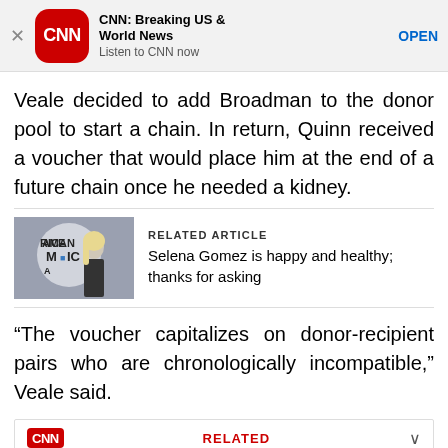[Figure (screenshot): CNN app advertisement banner with CNN logo, title 'CNN: Breaking US & World News', subtitle 'Listen to CNN now', and OPEN button]
Veale decided to add Broadman to the donor pool to start a chain. In return, Quinn received a voucher that would place him at the end of a future chain once he needed a kidney.
[Figure (photo): Related article image showing a woman at American Music Awards event]
RELATED ARTICLE
Selena Gomez is happy and healthy; thanks for asking
“The voucher capitalizes on donor-recipient pairs who are chronologically incompatible,” Veale said.
[Figure (screenshot): CNN related article card: Jane Fonda announces she's been diagnosed wi...]